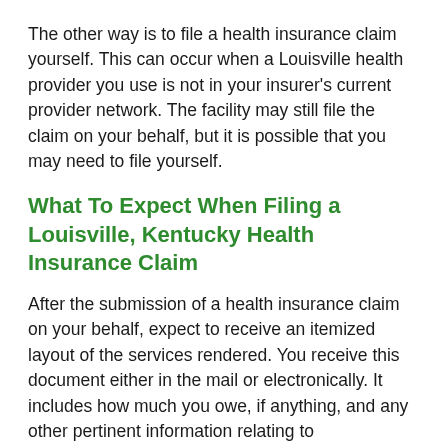The other way is to file a health insurance claim yourself. This can occur when a Louisville health provider you use is not in your insurer's current provider network. The facility may still file the claim on your behalf, but it is possible that you may need to file yourself.
What To Expect When Filing a Louisville, Kentucky Health Insurance Claim
After the submission of a health insurance claim on your behalf, expect to receive an itemized layout of the services rendered. You receive this document either in the mail or electronically. It includes how much you owe, if anything, and any other pertinent information relating to compensation you may expect to receive or further actions required.
Work with an Experienced Local Insurance Lawyer in Louisville,